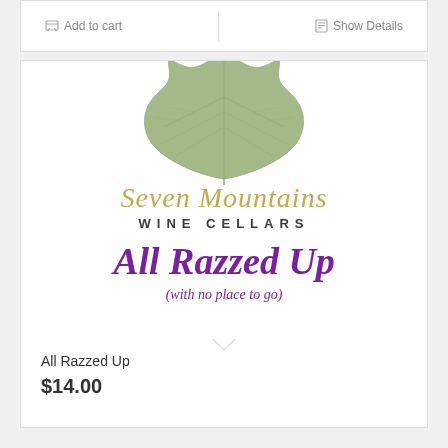[Figure (screenshot): Add to cart and Show Details buttons in a white bar]
[Figure (illustration): Seven Mountains Wine Cellars wine label for 'All Razzed Up (with no place to go)' featuring a grape leaf illustration, gold script brand name, and purple wine name text]
All Razzed Up
$14.00